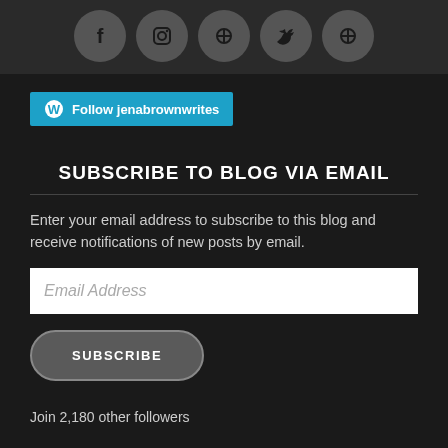[Figure (illustration): Row of five social media icon circles (Facebook, Instagram, and three others) on dark background]
[Figure (illustration): WordPress Follow button: 'Follow jenabrownwrites' in blue/teal]
SUBSCRIBE TO BLOG VIA EMAIL
Enter your email address to subscribe to this blog and receive notifications of new posts by email.
Email Address
SUBSCRIBE
Join 2,180 other followers